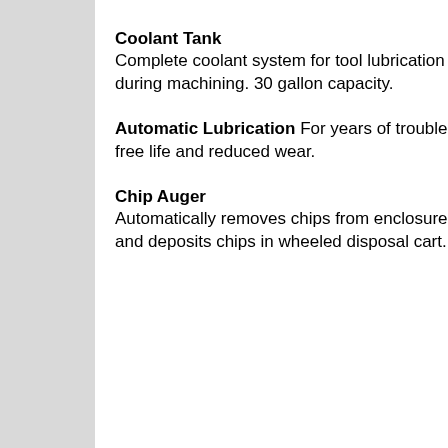Coolant Tank Complete coolant system for tool lubrication during machining. 30 gallon capacity.
Automatic Lubrication For years of trouble free life and reduced wear.
Chip Auger Automatically removes chips from enclosure and deposits chips in wheeled disposal cart.